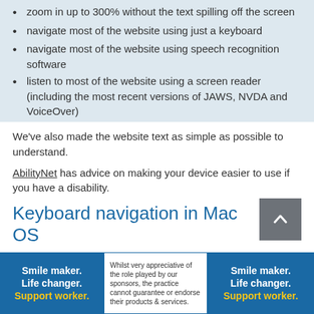zoom in up to 300% without the text spilling off the screen
navigate most of the website using just a keyboard
navigate most of the website using speech recognition software
listen to most of the website using a screen reader (including the most recent versions of JAWS, NVDA and VoiceOver)
We've also made the website text as simple as possible to understand.
AbilityNet has advice on making your device easier to use if you have a disability.
Keyboard navigation in Mac OS
For keyboard navigation to work in Mac OS an option has to be turned on.
[Figure (infographic): Two blue 'Smile maker. Life changer. Support worker.' banner ads flanking a white disclaimer box in the page footer.]